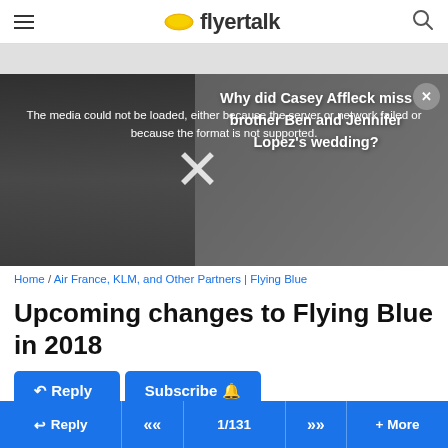flyertalk
[Figure (screenshot): Video player showing media load error overlay with text 'The media could not be loaded, either because the server or network failed or because the format is not supported.' with an advertisement overlay reading 'Why did Casey Affleck miss brother Ben and Jennifer Lopez's wedding?' and a close button and X dismiss mark]
Home / Air France, KLM, and Other Partners | Flying Blue
Upcoming changes to Flying Blue in 2018
Subscribe
Reply  <<  1/131  >>  + More